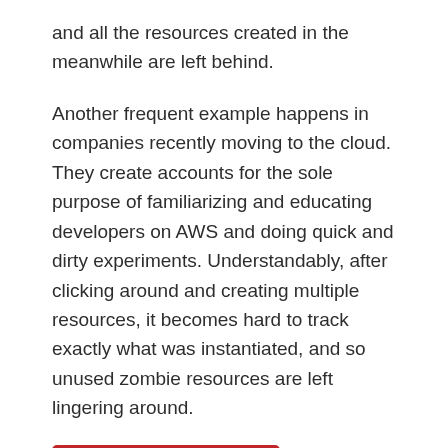and all the resources created in the meanwhile are left behind.
Another frequent example happens in companies recently moving to the cloud. They create accounts for the sole purpose of familiarizing and educating developers on AWS and doing quick and dirty experiments. Understandably, after clicking around and creating multiple resources, it becomes hard to track exactly what was instantiated, and so unused zombie resources are left lingering around.
Continue reading